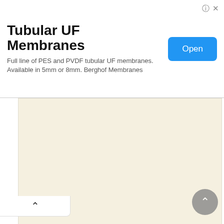Tubular UF Membranes
Full line of PES and PVDF tubular UF membranes. Available in 5mm or 8mm. Berghof Membranes
[Figure (other): Beige/cream colored chart or table area, largely blank in this view]
2.8% 2.0% 2.4% 2.4% 0.4% 0.1% 0.3% 0.5%
3.8% 5.6% 25.6% 29.3% 64.6% 60.0% 1
2.8% 2.0% 2.4% 2.4% 0.4% 0.1% 0.3% 0.5%